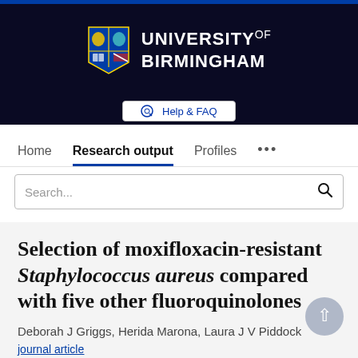[Figure (logo): University of Birmingham logo with crest and university name in white on dark navy background]
Help & FAQ
Home | Research output | Profiles | ...
Search...
Selection of moxifloxacin-resistant Staphylococcus aureus compared with five other fluoroquinolones
Deborah J Griggs, Herida Marona, Laura J V Piddock
Contributed to: journal article